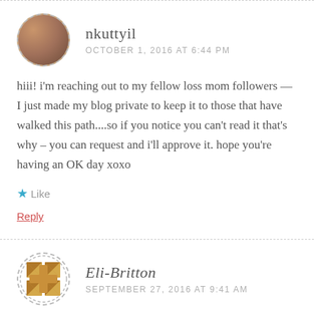nkuttyil
OCTOBER 1, 2016 AT 6:44 PM
hiii! i'm reaching out to my fellow loss mom followers — I just made my blog private to keep it to those that have walked this path....so if you notice you can't read it that's why – you can request and i'll approve it. hope you're having an OK day xoxo
Like
Reply
Eli-Britton
SEPTEMBER 27, 2016 AT 9:41 AM